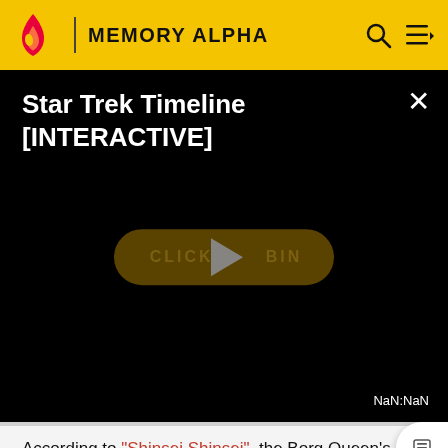MEMORY ALPHA
[Figure (screenshot): Star Trek Timeline [INTERACTIVE] video player on black background with play button overlay showing 'CLICK TO BEGIN' and time display 'NaN:NaN']
According to "Shinsei Shinsei", the Borg Queen's name was Danzek.
In the miniseries The Q Conflict, as part of a contest between various omnipotent beings organised by Q